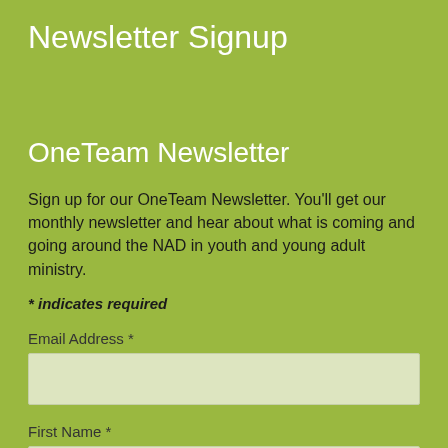Newsletter Signup
OneTeam Newsletter
Sign up for our OneTeam Newsletter. You'll get our monthly newsletter and hear about what is coming and going around the NAD in youth and young adult ministry.
* indicates required
Email Address *
First Name *